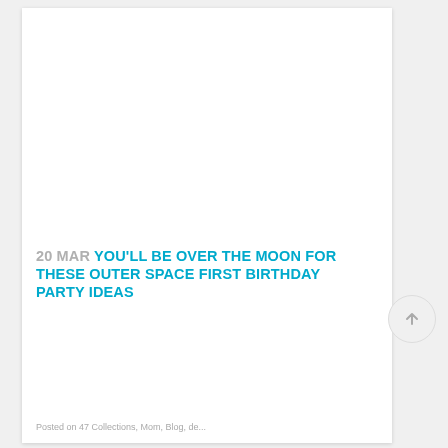[Figure (photo): Outer space themed birthday party table setup with black background, colorful planet decorations, rocket ship cutouts, silver moon-shaped balloon, blue cake stand with moon cake, cupcakes, space-themed plates and cups, party hats, garland of colorful planets, honeycomb decorations, and candy scattered on white table.]
20 MAR YOU'LL BE OVER THE MOON FOR THESE OUTER SPACE FIRST BIRTHDAY PARTY IDEAS